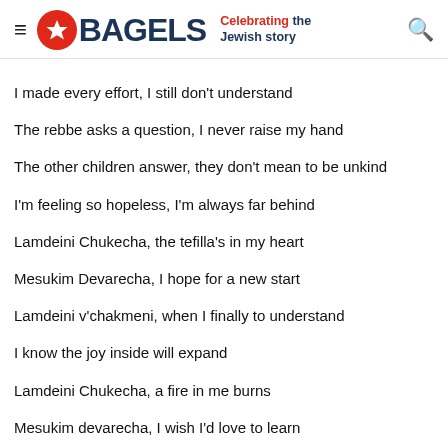BAGELS — Celebrating the Jewish story
I made every effort, I still don't understand
The rebbe asks a question, I never raise my hand
The other children answer, they don't mean to be unkind
I'm feeling so hopeless, I'm always far behind
Lamdeini Chukecha, the tefilla's in my heart
Mesukim Devarecha, I hope for a new start
Lamdeini v'chakmeni, when I finally to understand
I know the joy inside will expand
Lamdeini Chukecha, a fire in me burns
Mesukim devarecha, I wish I'd love to learn
Lamdeini v'chakmeini, so I can feel complete
How I long for learning to be sweet
One day my parents told me of something I could only dream
They spoke with my rebbe, my trouble was finally seen
"Lamdeini" would provide me, with someone just for me
A tutor who would guide me, to help gain clarity